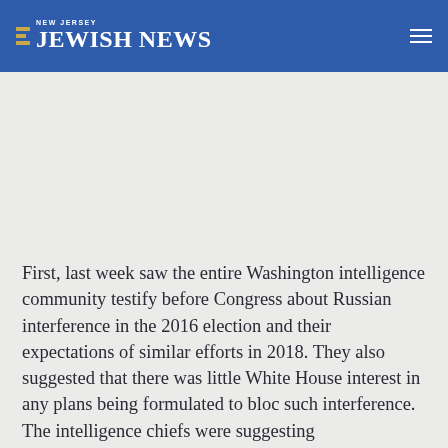NEW JERSEY JEWISH NEWS
First, last week saw the entire Washington intelligence community testify before Congress about Russian interference in the 2016 election and their expectations of similar efforts in 2018. They also suggested that there was little White House interest in any plans being formulated to bloc such interference. The intelligence chiefs were suggesting